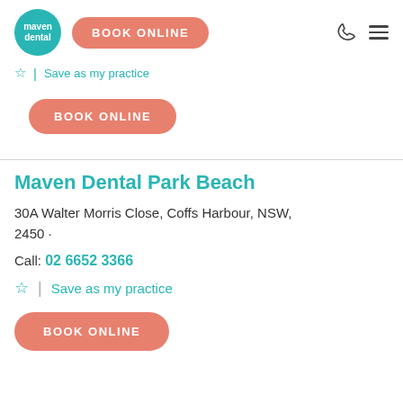maven dental | BOOK ONLINE
Save as my practice
BOOK ONLINE
Maven Dental Park Beach
30A Walter Morris Close, Coffs Harbour, NSW, 2450 ·
Call: 02 6652 3366
Save as my practice
BOOK ONLINE